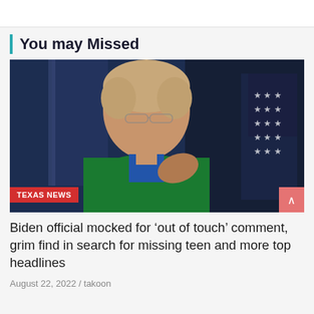You may Missed
[Figure (photo): A woman with short blonde hair, wearing glasses and a green blazer with a blue top, speaking and gesturing with her hand. An American flag is partially visible in the background. A red badge reading 'TEXAS NEWS' is overlaid at the bottom left of the image.]
Biden official mocked for ‘out of touch’ comment, grim find in search for missing teen and more top headlines
August 22, 2022 / takoon